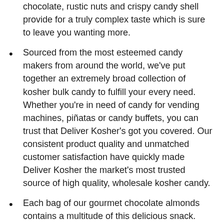chocolate, rustic nuts and crispy candy shell provide for a truly complex taste which is sure to leave you wanting more.
Sourced from the most esteemed candy makers from around the world, we've put together an extremely broad collection of kosher bulk candy to fulfill your every need. Whether you're in need of candy for vending machines, piñatas or candy buffets, you can trust that Deliver Kosher's got you covered. Our consistent product quality and unmatched customer satisfaction have quickly made Deliver Kosher the market's most trusted source of high quality, wholesale kosher candy.
Each bag of our gourmet chocolate almonds contains a multitude of this delicious snack. Our chocolate Jordan almonds are sourced from Koppers, a leading manufacturer of these tasty treasures.  Each almond is truly a work of